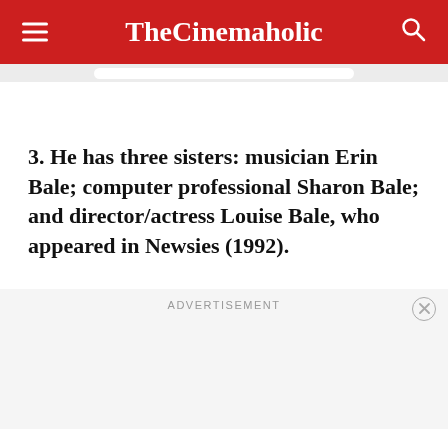TheCinemaholic
3. He has three sisters: musician Erin Bale; computer professional Sharon Bale; and director/actress Louise Bale, who appeared in Newsies (1992).
ADVERTISEMENT